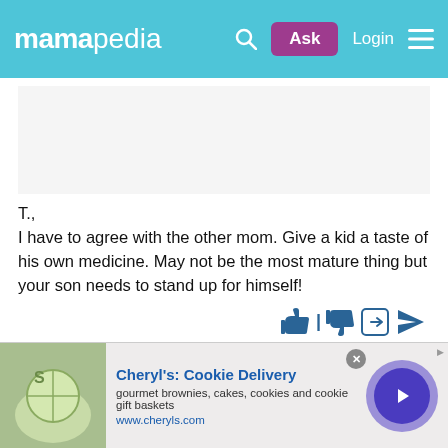mamapedia | Ask | Login
T.,
I have to agree with the other mom. Give a kid a taste of his own medicine. May not be the most mature thing but your son needs to stand up for himself!
[Figure (infographic): Social action icons: thumbs up, separator, thumbs down, share, flag]
[Figure (infographic): User avatar silhouette for M.G.]
M.G.
answers from Chicago on September 22, 2008
[Figure (photo): Advertisement banner: Cheryl's Cookie Delivery - gourmet brownies, cakes, cookies and cookie gift baskets. www.cheryls.com]